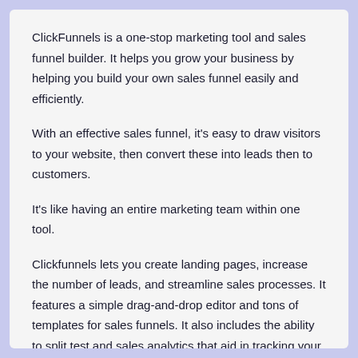ClickFunnels is a one-stop marketing tool and sales funnel builder. It helps you grow your business by helping you build your own sales funnel easily and efficiently.
With an effective sales funnel, it's easy to draw visitors to your website, then convert these into leads then to customers.
It's like having an entire marketing team within one tool.
Clickfunnels lets you create landing pages, increase the number of leads, and streamline sales processes. It features a simple drag-and-drop editor and tons of templates for sales funnels. It also includes the ability to split test and sales analytics that aid in tracking your data.
Clickfunnels is focused on helping you earn money and grow your company in the most simple method possible.